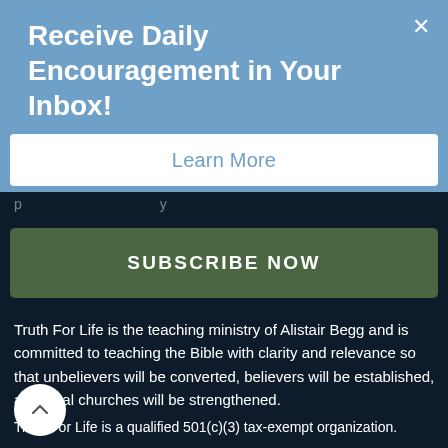Receive Daily Encouragement in Your Inbox!
Learn More
SUBSCRIBE NOW
Truth For Life is the teaching ministry of Alistair Begg and is committed to teaching the Bible with clarity and relevance so that unbelievers will be converted, believers will be established, and local churches will be strengthened.
Truth For Life is a qualified 501(c)(3) tax-exempt organization.